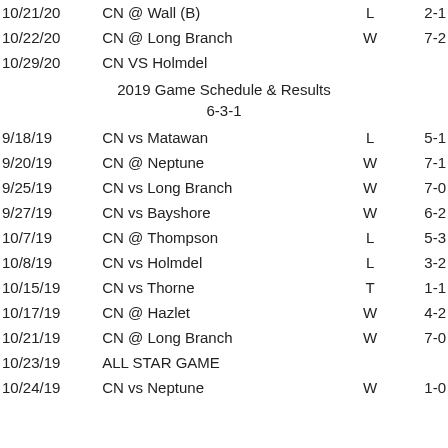| Date | Game | Result | Score |
| --- | --- | --- | --- |
| 10/21/20 | CN @ Wall (B) | L | 2-1 |
| 10/22/20 | CN @ Long Branch | W | 7-2 |
| 10/29/20 | CN VS Holmdel |  |  |
2019 Game Schedule & Results
6-3-1
| Date | Game | Result | Score |
| --- | --- | --- | --- |
| 9/18/19 | CN vs Matawan | L | 5-1 |
| 9/20/19 | CN @ Neptune | W | 7-1 |
| 9/25/19 | CN vs Long Branch | W | 7-0 |
| 9/27/19 | CN vs Bayshore | W | 6-2 |
| 10/7/19 | CN @ Thompson | L | 5-3 |
| 10/8/19 | CN vs Holmdel | L | 3-2 |
| 10/15/19 | CN vs Thorne | T | 1-1 |
| 10/17/19 | CN @ Hazlet | W | 4-2 |
| 10/21/19 | CN @ Long Branch | W | 7-0 |
| 10/23/19 | ALL STAR GAME |  |  |
| 10/24/19 | CN vs Neptune | W | 1-0 |